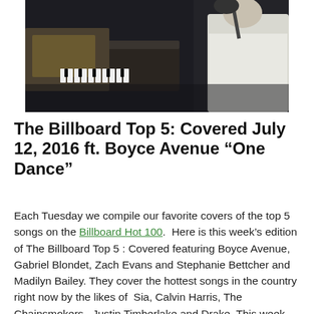[Figure (photo): A person in a white shirt playing keyboard/piano on a dark stage with a microphone visible.]
The Billboard Top 5: Covered July 12, 2016 ft. Boyce Avenue “One Dance”
Each Tuesday we compile our favorite covers of the top 5 songs on the Billboard Hot 100. Here is this week’s edition of The Billboard Top 5 : Covered featuring Boyce Avenue, Gabriel Blondet, Zach Evans and Stephanie Bettcher and Madilyn Bailey. They cover the hottest songs in the country right now by the likes of Sia, Calvin Harris, The Chainsmokers, Justin Timberlake and Drake. This week also features a bonus cover of Jon Pardi’s “Head Over Heels” by jake Shafer of Shafer Brothers Baseball.